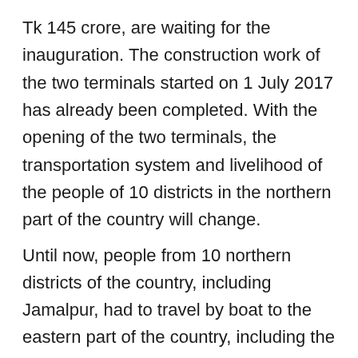Tk 145 crore, are waiting for the inauguration. The construction work of the two terminals started on 1 July 2017 has already been completed. With the opening of the two terminals, the transportation system and livelihood of the people of 10 districts in the northern part of the country will change.
Until now, people from 10 northern districts of the country, including Jamalpur, had to travel by boat to the eastern part of the country, including the capital, with crops and other goods at risk. The people of these districts have long demanded the construction of the Bahadurabad Ferry Terminal in Dewanganj and the Balasighat Bus Terminal in Gaibandha. But due to lack of connecting roads and navigability crisis, it was not possible to start ferry service on the Jamuna River.
After waiting for a long time, ferry terminal at